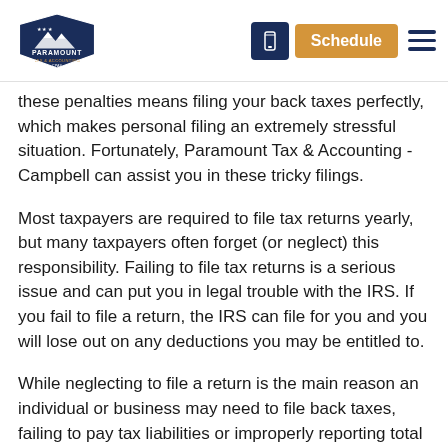Paramount Tax & Accounting - Campbell | Schedule
these penalties means filing your back taxes perfectly, which makes personal filing an extremely stressful situation. Fortunately, Paramount Tax & Accounting - Campbell can assist you in these tricky filings.
Most taxpayers are required to file tax returns yearly, but many taxpayers often forget (or neglect) this responsibility. Failing to file tax returns is a serious issue and can put you in legal trouble with the IRS. If you fail to file a return, the IRS can file for you and you will lose out on any deductions you may be entitled to.
While neglecting to file a return is the main reason an individual or business may need to file back taxes, failing to pay tax liabilities or improperly reporting total income additionally leads to back tax accumulation. By definition,